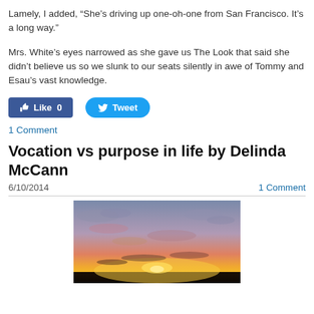Lamely, I added, “She’s driving up one-oh-one from San Francisco.  It’s a long way.”
Mrs. White’s eyes narrowed as she gave us The Look that said she didn’t believe us so we slunk to our seats silently in awe of Tommy and Esau’s vast knowledge.
[Figure (other): Facebook Like button (0 likes) and Twitter Tweet button]
1 Comment
Vocation vs purpose in life by Delinda  McCann
6/10/2014    1 Comment
[Figure (photo): A sunset photograph showing orange and yellow sky near horizon with clouds and water or land silhouette at bottom]